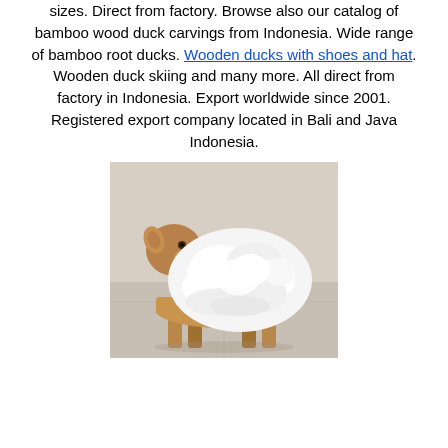sizes. Direct from factory. Browse also our catalog of bamboo wood duck carvings from Indonesia. Wide range of bamboo root ducks. Wooden ducks with shoes and hat. Wooden duck skiing and many more. All direct from factory in Indonesia. Export worldwide since 2001. Registered export company located in Bali and Java Indonesia.
[Figure (photo): A wooden animal stool (sheep/lamb shape) with white fluffy fur seat covering and natural wood legs, photographed on a tiled floor.]